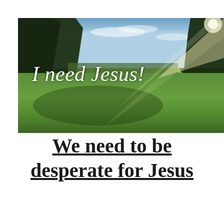[Figure (photo): Outdoor landscape photo showing a green grass field with trees on left and right, blue sky with light clouds, and a sun flare from the upper right. White italic text overlay reads 'I need Jesus!']
We need to be desperate for Jesus